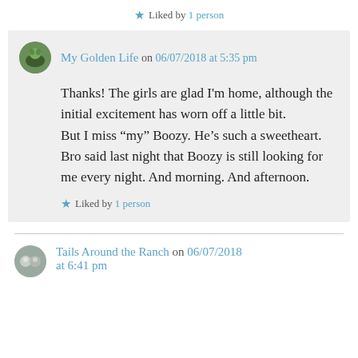★ Liked by 1 person
My Golden Life on 06/07/2018 at 5:35 pm
Thanks! The girls are glad I'm home, although the initial excitement has worn off a little bit.
But I miss “my” Boozy. He’s such a sweetheart. Bro said last night that Boozy is still looking for me every night. And morning. And afternoon.
★ Liked by 1 person
Tails Around the Ranch on 06/07/2018 at 6:41 pm